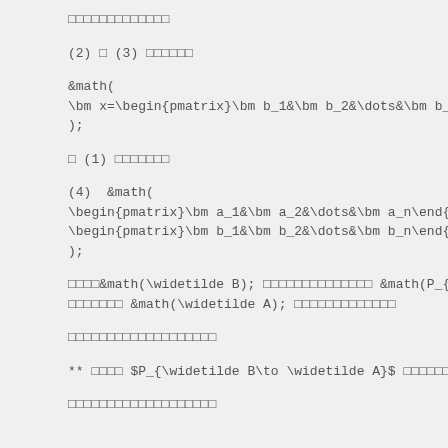□□□□□□□□□□□□□
(2) □ (3) □□□□□□
&math(
\bm x=\begin{pmatrix}\bm b_1&\bm b_2&\dots&\bm b_n\e
);
□ (1) □□□□□□□
(4)  &math(
\begin{pmatrix}\bm a_1&\bm a_2&\dots&\bm a_n\end{pma
\begin{pmatrix}\bm b_1&\bm b_2&\dots&\bm b_n\end{pma
);
□□□□&math(\widetilde B); □□□□□□□□□□□□□□ &math(P_{\wi
□□□□□□□ &math(\widetilde A); □□□□□□□□□□□□□
□□□□□□□□□□□□□□□□□□□
** □□□□ $P_{\widetilde B\to \widetilde A}$ □□□□□□ [#
□□□□□□□□□□□□□□□□□□□